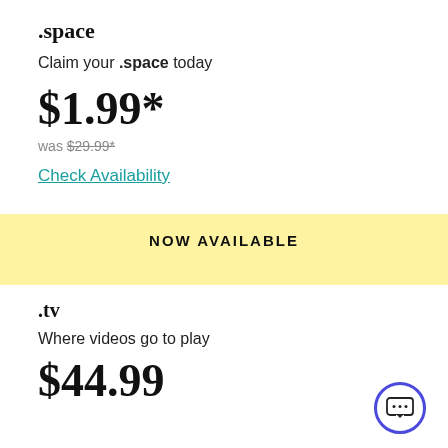.space
Claim your .space today
$1.99*
was $29.99*
Check Availability
NOW AVAILABLE
.tv
Where videos go to play
$44.99